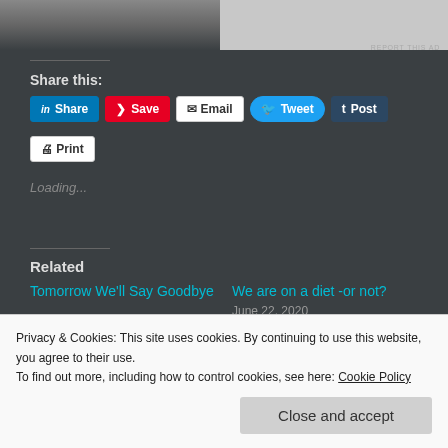[Figure (photo): Top cropped image strip showing partial photo on left and white/grey block on right, with REPORT THIS AD label]
Share this:
Share | Save | Email | Tweet | Post | Print
Loading...
Related
Tomorrow We'll Say Goodbye
We are on a diet -or not?
June 22, 2020
Privacy & Cookies: This site uses cookies. By continuing to use this website, you agree to their use.
To find out more, including how to control cookies, see here: Cookie Policy